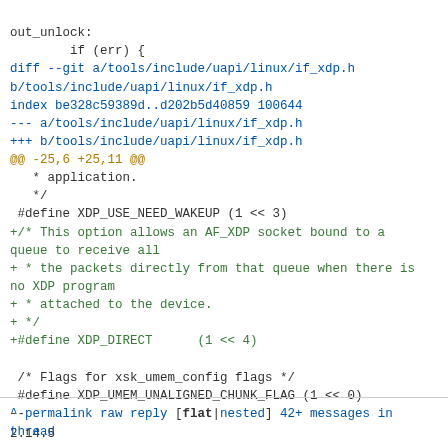out_unlock:
        if (err) {
diff --git a/tools/include/uapi/linux/if_xdp.h b/tools/include/uapi/linux/if_xdp.h
index be328c59389d..d202b5d40859 100644
--- a/tools/include/uapi/linux/if_xdp.h
+++ b/tools/include/uapi/linux/if_xdp.h
@@ -25,6 +25,11 @@
   * application.
   */
 #define XDP_USE_NEED_WAKEUP (1 << 3)
+/* This option allows an AF_XDP socket bound to a queue to receive all
+ * the packets directly from that queue when there is no XDP program
+ * attached to the device.
+ */
+#define XDP_DIRECT      (1 << 4)

 /* Flags for xsk_umem_config flags */
 #define XDP_UMEM_UNALIGNED_CHUNK_FLAG (1 << 0)
--
2.14.5
^ permalink raw reply    [flat|nested] 42+ messages in thread